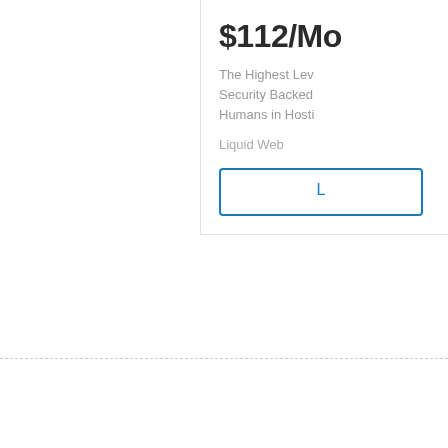$112/Mo
The Highest Lev Security Backed Humans in Hosti
Liquid Web
L
Newer Post
Subscribe to: Post Comments ( Atom )